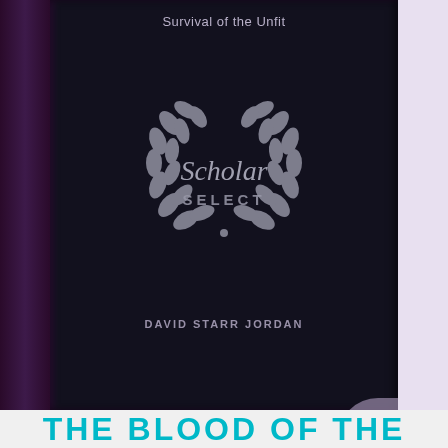Survival of the Unfit
[Figure (logo): Scholar Select laurel wreath logo with italic 'Scholar' text and 'SELECT' below in capitals]
DAVID STARR JORDAN
THE BLOOD OF THE